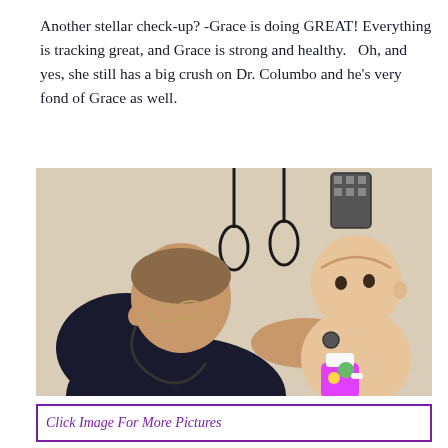Another stellar check-up? -Grace is doing GREAT! Everything is tracking great, and Grace is strong and healthy.   Oh, and yes, she still has a big crush on Dr. Columbo and he's very fond of Grace as well.
[Figure (photo): A doctor in dark clothing using a stethoscope to examine a baby/toddler during a check-up. Medical equipment hangs on the wall in the background. The baby is holding a colorful sippy cup.]
Click Image For More Pictures